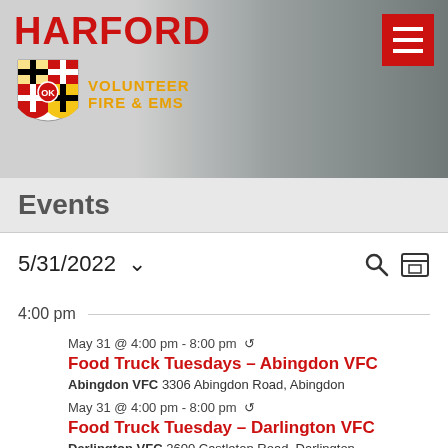[Figure (logo): Harford Volunteer Fire & EMS logo with Maryland flag shield, red HARFORD text, orange VOLUNTEER FIRE & EMS text]
Events
5/31/2022
4:00 pm
May 31 @ 4:00 pm - 8:00 pm
Food Truck Tuesdays – Abingdon VFC
Abingdon VFC 3306 Abingdon Road, Abingdon
May 31 @ 4:00 pm - 8:00 pm
Food Truck Tuesday – Darlington VFC
Darlington VFC 2600 Castleton Road, Darlington